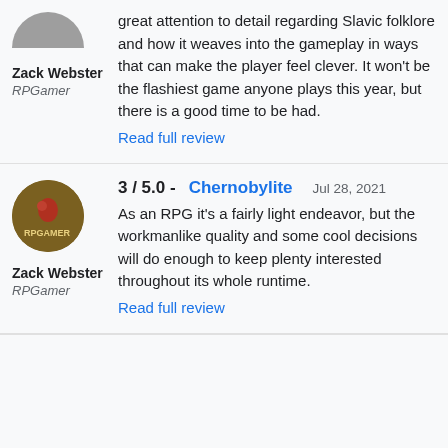[Figure (photo): Partial circular avatar at top, gray/brown color]
great attention to detail regarding Slavic folklore and how it weaves into the gameplay in ways that can make the player feel clever. It won't be the flashiest game anyone plays this year, but there is a good time to be had.
Read full review
Zack Webster
RPGamer
[Figure (logo): RPGamer circular logo, dark gold/brown with red figure]
3 / 5.0 - Chernobylite   Jul 28, 2021
As an RPG it's a fairly light endeavor, but the workmanlike quality and some cool decisions will do enough to keep plenty interested throughout its whole runtime.
Read full review
Zack Webster
RPGamer